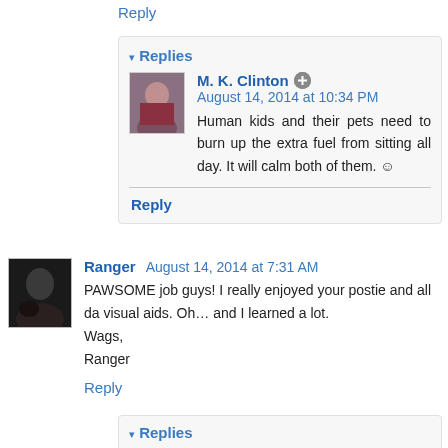Reply
▾ Replies
M. K. Clinton  August 14, 2014 at 10:34 PM
Human kids and their pets need to burn up the extra fuel from sitting all day. It will calm both of them. ☺
Reply
Ranger  August 14, 2014 at 7:31 AM
PAWSOME job guys! I really enjoyed your postie and all da visual aids. Oh… and I learned a lot.
Wags,
Ranger
Reply
▾ Replies